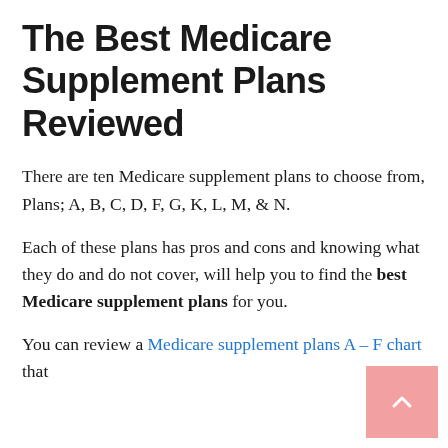The Best Medicare Supplement Plans Reviewed
There are ten Medicare supplement plans to choose from, Plans; A, B, C, D, F, G, K, L, M, & N.
Each of these plans has pros and cons and knowing what they do and do not cover, will help you to find the best Medicare supplement plans for you.
You can review a Medicare supplement plans A – F chart that